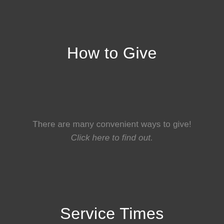How to Give
There are many convenient ways to give! Click here to find out.
Service Times